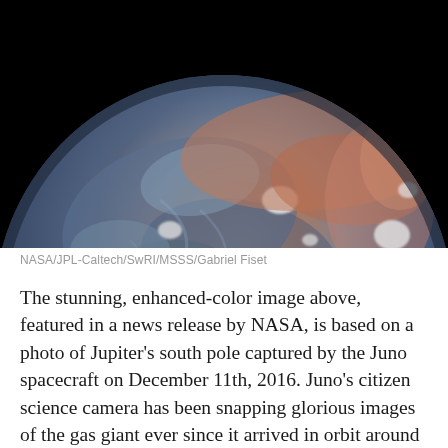[Figure (photo): Enhanced-color image of Jupiter's south pole as seen from the Juno spacecraft, showing swirling blue and reddish-brown cloud patterns against a black space background. The planet's curved limb is visible with dramatic storm systems.]
NASA/JPL-Caltech/SwRI/MSSS/Gabriel Fiset
The stunning, enhanced-color image above, featured in a news release by NASA, is based on a photo of Jupiter's south pole captured by the Juno spacecraft on December 11th, 2016. Juno's citizen science camera has been snapping glorious images of the gas giant ever since it arrived in orbit around Jupiter last July. The